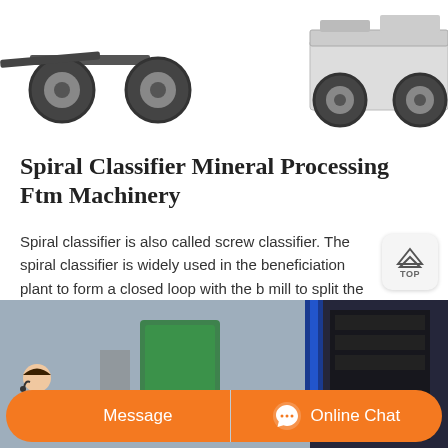[Figure (photo): Partial view of machinery/vehicle chassis with wheels on white background, top portion of page]
Spiral Classifier Mineral Processing Ftm Machinery
Spiral classifier is also called screw classifier. The spiral classifier is widely used in the beneficiation plant to form a closed loop with the b mill to split the ore or to classify the ore and fine mud, grade the slurry during the spiral classifier mineral processing, and dewater in
[Figure (photo): Industrial machinery/equipment in a factory setting, bottom portion of page. Overlaid with orange chat bar buttons: Message and Online Chat.]